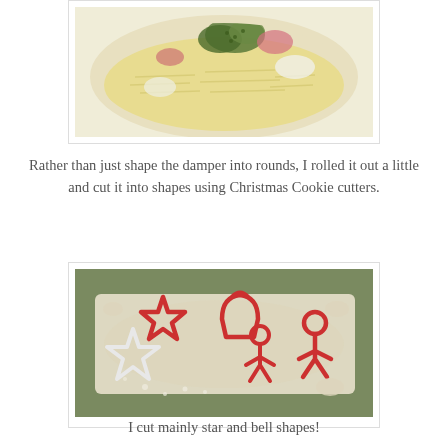[Figure (photo): A bowl containing shredded/grated ingredients (pasta or cheese) with chopped green herbs and pink/red ingredients mixed in, viewed from above on a white background.]
Rather than just shape the damper into rounds, I rolled it out a little and cut it into shapes using Christmas Cookie cutters.
[Figure (photo): Rolled out dough on a floured surface with red and white Christmas cookie cutters (star, bell, gingerbread man shapes) placed on top of the dough.]
I cut mainly star and bell shapes!